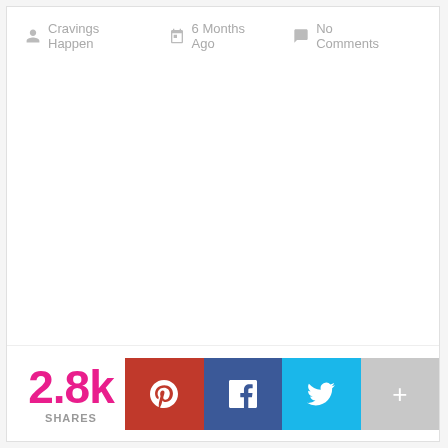Cravings Happen   6 Months Ago   No Comments
2.8k SHARES